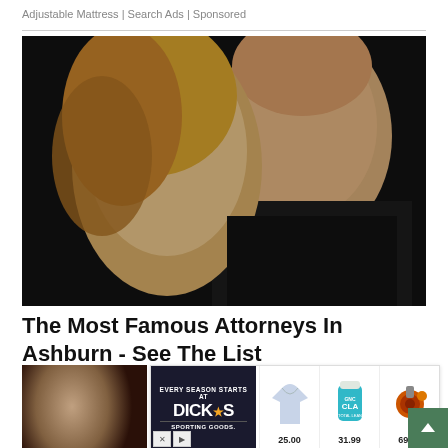Adjustable Mattress | Search Ads | Sponsored
[Figure (photo): Close-up photo of a blonde woman on the left and a man in a dark shirt on the right, dark background]
The Most Famous Attorneys In Ashburn - See The List
30 Lawy
[Figure (advertisement): Dick's Sporting Goods ad banner showing 'Every Season Starts At Dick's Sporting Goods' with products including a shirt for $25.00, CLA supplement for $31.99, and fishing reel for $69.99]